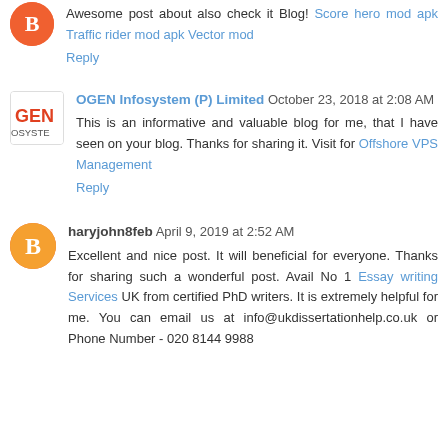Awesome post about also check it Blog! Score hero mod apk Traffic rider mod apk Vector mod
Reply
OGEN Infosystem (P) Limited October 23, 2018 at 2:08 AM
This is an informative and valuable blog for me, that I have seen on your blog. Thanks for sharing it. Visit for Offshore VPS Management
Reply
haryjohn8feb April 9, 2019 at 2:52 AM
Excellent and nice post. It will beneficial for everyone. Thanks for sharing such a wonderful post. Avail No 1 Essay writing Services UK from certified PhD writers. It is extremely helpful for me. You can email us at info@ukdissertationhelp.co.uk or Phone Number - 020 8144 9988